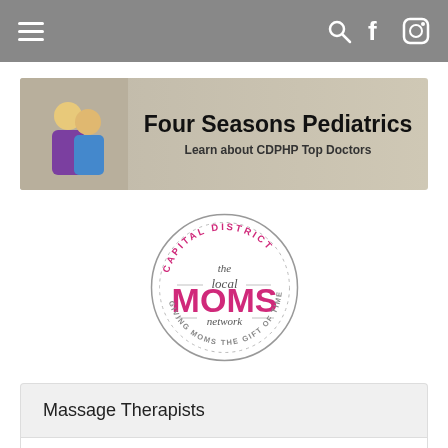Navigation bar with hamburger menu, search, Facebook, and Instagram icons
[Figure (logo): Four Seasons Pediatrics banner with two doctors and text 'Four Seasons Pediatrics - Learn about CDPHP Top Doctors']
[Figure (logo): Capital District The Local MOMS Network - Giving Moms the Gift of Time circular logo]
Massage Therapists
Mental Health (Counselors/Social Workers/Psychologists/Psychiatrists)